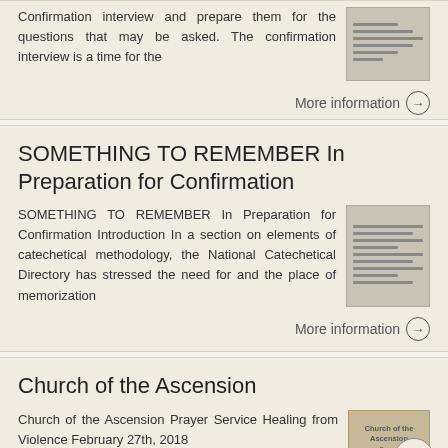Confirmation interview and prepare them for the questions that may be asked. The confirmation interview is a time for the
More information →
SOMETHING TO REMEMBER In Preparation for Confirmation
SOMETHING TO REMEMBER In Preparation for Confirmation Introduction In a section on elements of catechetical methodology, the National Catechetical Directory has stressed the need for and the place of memorization
More information →
Church of the Ascension
Church of the Ascension Prayer Service Healing from Violence February 27th, 2018